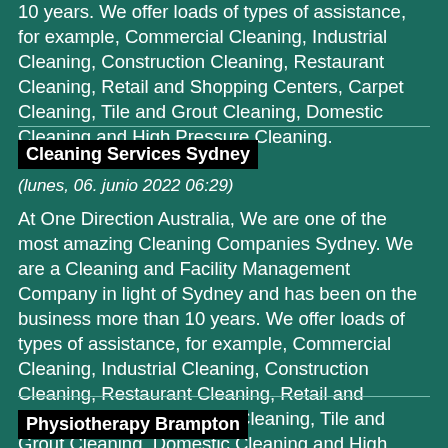10 years. We offer loads of types of assistance, for example, Commercial Cleaning, Industrial Cleaning, Construction Cleaning, Restaurant Cleaning, Retail and Shopping Centers, Carpet Cleaning, Tile and Grout Cleaning, Domestic Cleaning and High Pressure Cleaning.
Cleaning Services Sydney
(lunes, 06. junio 2022 06:29)
At One Direction Australia, We are one of the most amazing Cleaning Companies Sydney. We are a Cleaning and Facility Management Company in light of Sydney and has been on the business more than 10 years. We offer loads of types of assistance, for example, Commercial Cleaning, Industrial Cleaning, Construction Cleaning, Restaurant Cleaning, Retail and Shopping Centers, Carpet Cleaning, Tile and Grout Cleaning, Domestic Cleaning and High Pressure Cleaning.
Physiotherapy Brampton
(viernes, 03. junio 2022 15:59)